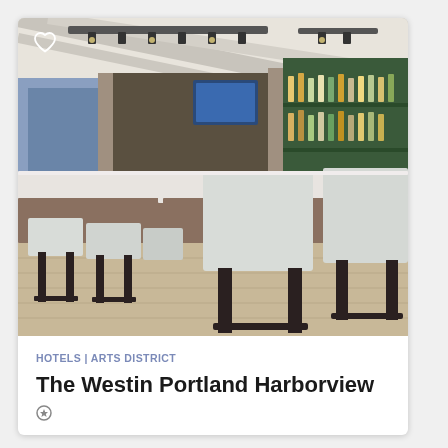[Figure (photo): Interior of a modern hotel bar with a large white countertop bar surface, white upholstered bar stools with dark frames, and a backlit liquor shelf in the background. Track lighting on the ceiling.]
HOTELS | ARTS DISTRICT
The Westin Portland Harborview